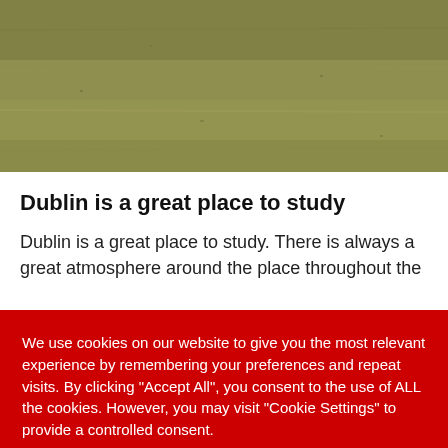[Figure (photo): Aerial or close-up photograph of green/olive grass or turf surface]
Dublin is a great place to study
Dublin is a great place to study. There is always a great atmosphere around the place throughout the
We use cookies on our website to give you the most relevant experience by remembering your preferences and repeat visits. By clicking "Accept All", you consent to the use of ALL the cookies. However, you may visit "Cookie Settings" to provide a controlled consent.
Cookie Settings
Accept All